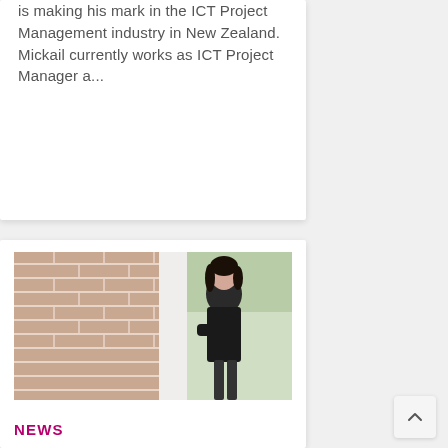is making his mark in the ICT Project Management industry in New Zealand. Mickail currently works as ICT Project Manager a...
[Figure (photo): Young woman with dark hair, arms crossed, leaning against a brick wall outdoors, wearing a black polo shirt.]
NEWS